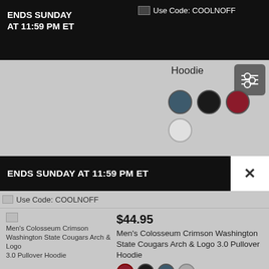ENDS SUNDAY AT 11:59 PM ET
Use Code: COOLNOFF
Hoodie
ENDS SUNDAY AT 11:59 PM ET
Use Code: COOLNOFF
[Figure (screenshot): Men's Colosseum Crimson Washington State Cougars Arch & Logo 3.0 Pullover Hoodie product image placeholder]
$44.95
Men's Colosseum Crimson Washington State Cougars Arch & Logo 3.0 Pullover Hoodie
Most Popular